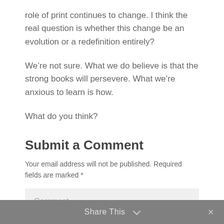role of print continues to change. I think the real question is whether this change be an evolution or a redefinition entirely?
We're not sure. What we do believe is that the strong books will persevere. What we're anxious to learn is how.
What do you think?
Submit a Comment
Your email address will not be published. Required fields are marked *
Comment
Share This ∨  ×